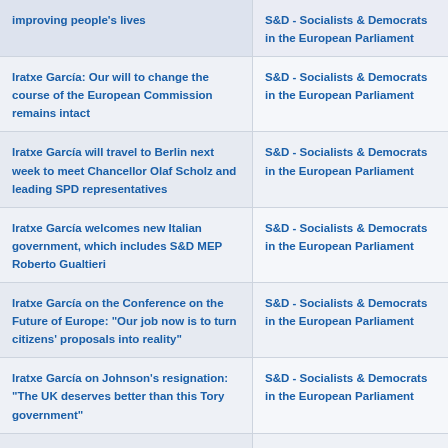| Article Title | Source |
| --- | --- |
| improving people's lives | S&D - Socialists & Democrats in the European Parliament |
| Iratxe García: Our will to change the course of the European Commission remains intact | S&D - Socialists & Democrats in the European Parliament |
| Iratxe García will travel to Berlin next week to meet Chancellor Olaf Scholz and leading SPD representatives | S&D - Socialists & Democrats in the European Parliament |
| Iratxe García welcomes new Italian government, which includes S&D MEP Roberto Gualtieri | S&D - Socialists & Democrats in the European Parliament |
| Iratxe García on the Conference on the Future of Europe: "Our job now is to turn citizens' proposals into reality" | S&D - Socialists & Democrats in the European Parliament |
| Iratxe García on Johnson's resignation: "The UK deserves better than this Tory government" | S&D - Socialists & Democrats in the European Parliament |
| Iratxe García demands important clarifications from von der Leyen ahead of the Commissioner-designate hearings | S&D - Socialists & Democrats in the European Parliament |